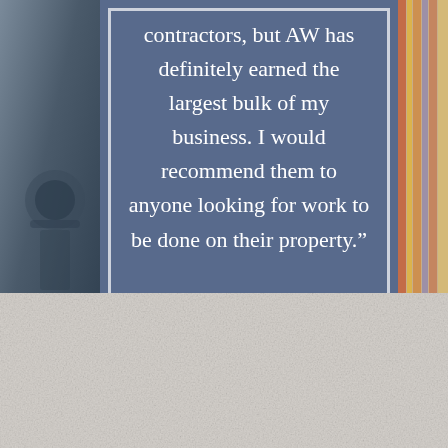[Figure (photo): Composite image with a dark blue/gray tool photo on the left strip, a colorful plaid/striped fabric photo on the right strip, and a muted blue overlay panel in the center containing a customer testimonial quote in white text. The bottom portion shows a light textured white/gray surface.]
contractors, but AW has definitely earned the largest bulk of my business. I would recommend them to anyone looking for work to be done on their property."